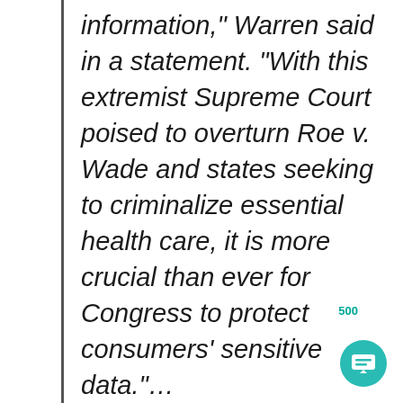information," Warren said in a statement. "With this extremist Supreme Court poised to overturn Roe v. Wade and states seeking to criminalize essential health care, it is more crucial than ever for Congress to protect consumers' sensitive data."…
Data and privacy experts have endorsed the bill, emphasizing that the largely unregulated data sale industry poses risks to everyone